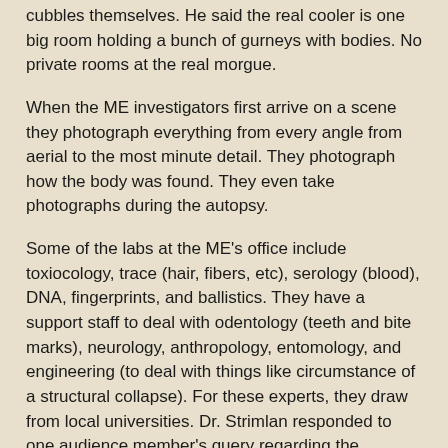cubbles themselves. He said the real cooler is one big room holding a bunch of gurneys with bodies. No private rooms at the real morgue.
When the ME investigators first arrive on a scene they photograph everything from every angle from aerial to the most minute detail. They photograph how the body was found. They even take photographs during the autopsy.
Some of the labs at the ME's office include toxiocology, trace (hair, fibers, etc), serology (blood), DNA, fingerprints, and ballistics. They have a support staff to deal with odentology (teeth and bite marks), neurology, anthropology, entomology, and engineering (to deal with things like circumstance of a structural collapse). For these experts, they draw from local universities. Dr. Strimlan responded to one audience member's query regarding the authenticity of the show Bones by stating that no one finds that many bones to make keeping an anthropologist on staff realistic. They would just go to the anthropology department at one of the local universities and borrow a professor.